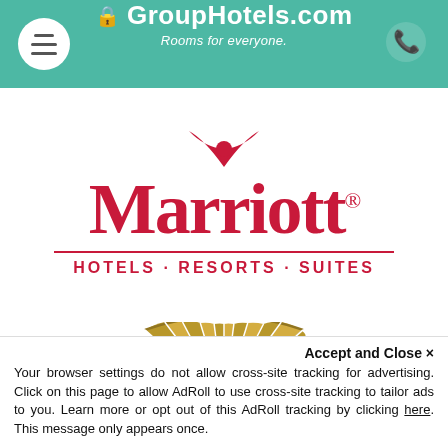GroupHotels.com — Rooms for everyone.
[Figure (logo): Marriott Hotels Resorts Suites logo in red with divider line]
[Figure (logo): Mandarin Oriental fan logo in gold with text MANDARIN ORIENTAL]
Accept and Close ×
Your browser settings do not allow cross-site tracking for advertising. Click on this page to allow AdRoll to use cross-site tracking to tailor ads to you. Learn more or opt out of this AdRoll tracking by clicking here. This message only appears once.